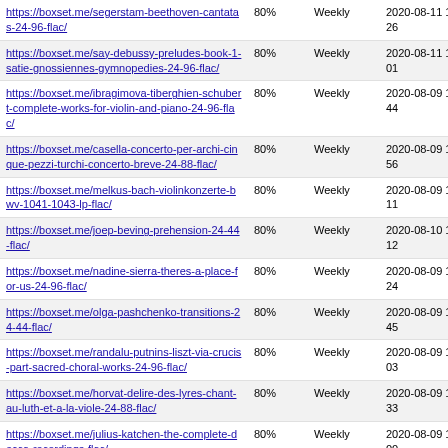| https://boxset.me/segerstam-beethoven-cantatas-24-96-flac/ | 80% | Weekly | 2020-08-11 11:26 |
| https://boxset.me/say-debussy-preludes-book-1-satie-gnossiennes-gymnopedies-24-96-flac/ | 80% | Weekly | 2020-08-11 11:01 |
| https://boxset.me/ibragimova-tiberghien-schubert-complete-works-for-violin-and-piano-24-96-flac/ | 80% | Weekly | 2020-08-09 15:44 |
| https://boxset.me/casella-concerto-per-archi-cinque-pezzi-turchi-concerto-breve-24-88-flac/ | 80% | Weekly | 2020-08-09 17:56 |
| https://boxset.me/melkus-bach-violinkonzerte-bwv-1041-1043-lp-flac/ | 80% | Weekly | 2020-08-09 16:11 |
| https://boxset.me/joep-beving-prehension-24-44-flac/ | 80% | Weekly | 2020-08-10 15:12 |
| https://boxset.me/nadine-sierra-theres-a-place-for-us-24-96-flac/ | 80% | Weekly | 2020-08-09 16:24 |
| https://boxset.me/olga-pashchenko-transitions-24-44-flac/ | 80% | Weekly | 2020-08-09 17:45 |
| https://boxset.me/randalu-putnins-liszt-via-crucis-part-sacred-choral-works-24-96-flac/ | 80% | Weekly | 2020-08-09 18:03 |
| https://boxset.me/horvat-delire-des-lyres-chant-au-luth-et-a-la-viole-24-88-flac/ | 80% | Weekly | 2020-08-09 15:33 |
| https://boxset.me/julius-katchen-the-complete-decca-recordings-flac/ | 80% | Weekly | 2020-08-09 15:00 |
| https://boxset.me/vogler-macelaru-gergiev-muhly-helbig-long-three-continents-cello-concerto-shostakovich-cello-concerto-no-2-24-48-flac/ | 80% | Weekly | 2020-08-09 10:15 |
| https://boxset.me/victoria-borisova-ollas-orchestral-works-24-96-flac/ | 80% | Weekly | 2020-08-09 09:54 |
| https://boxset.me/bruce-levingston-heavy-... | 80% | Weekly | 2020-08-08 ... |